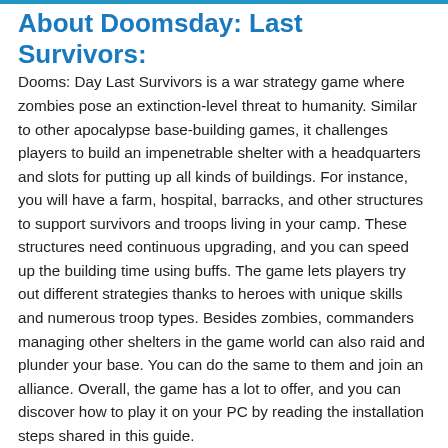About Doomsday: Last Survivors:
Dooms: Day Last Survivors is a war strategy game where zombies pose an extinction-level threat to humanity. Similar to other apocalypse base-building games, it challenges players to build an impenetrable shelter with a headquarters and slots for putting up all kinds of buildings. For instance, you will have a farm, hospital, barracks, and other structures to support survivors and troops living in your camp. These structures need continuous upgrading, and you can speed up the building time using buffs. The game lets players try out different strategies thanks to heroes with unique skills and numerous troop types. Besides zombies, commanders managing other shelters in the game world can also raid and plunder your base. You can do the same to them and join an alliance. Overall, the game has a lot to offer, and you can discover how to play it on your PC by reading the installation steps shared in this guide.